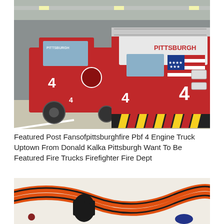[Figure (photo): Two Pittsburgh Fire Department fire trucks (engine and ladder truck, both labeled '4' and 'PITTSBURGH') parked inside a fire station garage. The front truck has an American flag design on its hood. Red vehicles with yellow chevron bumper guards.]
Featured Post Fansofpittsburghfire Pbf 4 Engine Truck Uptown From Donald Kalka Pittsburgh Want To Be Featured Fire Trucks Firefighter Fire Dept
[Figure (photo): Close-up photo of what appears to be toy or model fire trucks/Hot Wheels style track with black, red and orange curved tracks on a light background.]